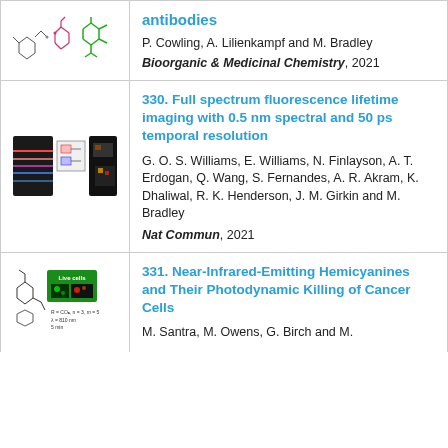[Figure (illustration): Molecular structure diagrams showing chemical structures related to antibodies]
antibodies
P. Cowling, A. Lilienkampf and M. Bradley
Bioorganic & Medicinal Chemistry, 2021
330. Full spectrum fluorescence lifetime imaging with 0.5 nm spectral and 50 ps temporal resolution
[Figure (photo): Fluorescence lifetime imaging microscopy setup and result images]
G. O. S. Williams, E. Williams, N. Finlayson, A. T. Erdogan, Q. Wang, S. Fernandes, A. R. Akram, K. Dhaliwal, R. K. Henderson, J. M. Girkin and M. Bradley
Nat Commun, 2021
331. Near-Infrared-Emitting Hemicyanines and Their Photodynamic Killing of Cancer Cells
[Figure (photo): Chemical structure and live cell fluorescence microscopy images]
M. Santra, M. Owens, G. Birch and M.